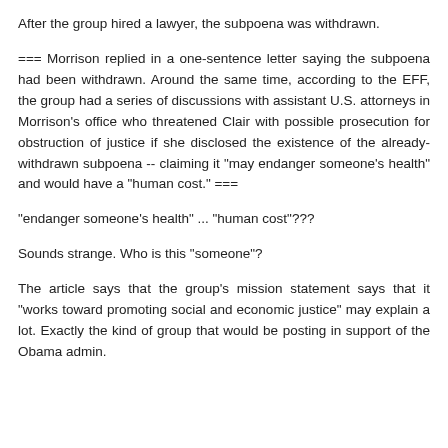After the group hired a lawyer, the subpoena was withdrawn.
=== Morrison replied in a one-sentence letter saying the subpoena had been withdrawn. Around the same time, according to the EFF, the group had a series of discussions with assistant U.S. attorneys in Morrison's office who threatened Clair with possible prosecution for obstruction of justice if she disclosed the existence of the already-withdrawn subpoena -- claiming it "may endanger someone's health" and would have a "human cost." ===
"endanger someone's health" ... "human cost"???
Sounds strange. Who is this "someone"?
The article says that the group's mission statement says that it "works toward promoting social and economic justice" may explain a lot. Exactly the kind of group that would be posting in support of the Obama admin.